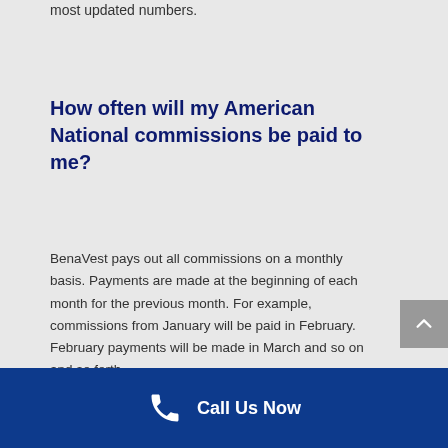most updated numbers.
How often will my American National commissions be paid to me?
BenaVest pays out all commissions on a monthly basis. Payments are made at the beginning of each month for the previous month. For example, commissions from January will be paid in February. February payments will be made in March and so on and so forth.
Call Us Now